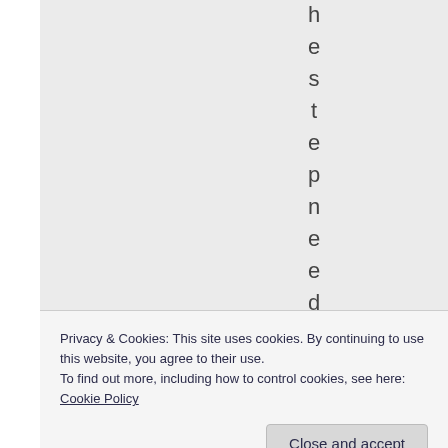[Figure (other): Vertically oriented letters spelling out 'hestepnede' displayed one character per line against a light gray background, appearing to be rotated/vertical text from a webpage.]
Privacy & Cookies: This site uses cookies. By continuing to use this website, you agree to their use.
To find out more, including how to control cookies, see here: Cookie Policy
Close and accept